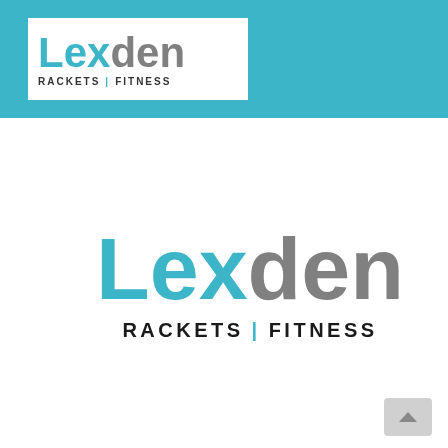[Figure (logo): Lexden Rackets | Fitness logo in header bar on teal/cyan background — white box with 'Lexden' in teal and grey bold text, subtitle 'RACKETS | FITNESS' in dark lettering]
[Figure (logo): Large Lexden Rackets | Fitness logo on white background — 'Lex' in teal, 'den' in grey large bold text, subtitle 'RACKETS | FITNESS' in dark letters with teal pipe separator]